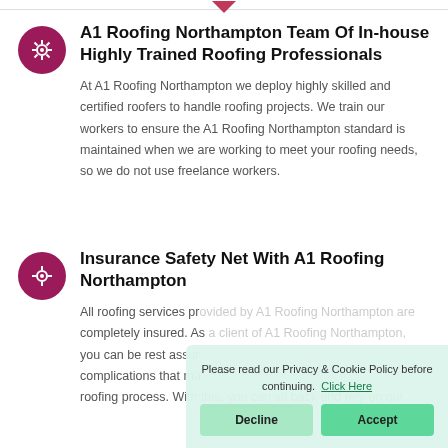A1 Roofing Northampton Team Of In-house Highly Trained Roofing Professionals
At A1 Roofing Northampton we deploy highly skilled and certified roofers to handle roofing projects. We train our workers to ensure the A1 Roofing Northampton standard is maintained when we are working to meet your roofing needs, so we do not use freelance workers.
Insurance Safety Net With A1 Roofing Northampton
All roofing services pr... completely insured. As... you can be rest assur... complications that ma... roofing process. With this, you can sit back and rely on our
Please read our Privacy & Cookie Policy before continuing. Click Here